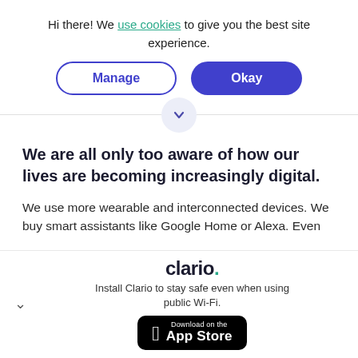Hi there! We use cookies to give you the best site experience.
[Figure (other): Two buttons: 'Manage' (outlined, purple border) and 'Okay' (filled purple background, white text)]
[Figure (other): Horizontal divider line with a small circle containing a downward chevron in the center]
We are all only too aware of how our lives are becoming increasingly digital.
We use more wearable and interconnected devices. We buy smart assistants like Google Home or Alexa. Even
[Figure (logo): Clario logo with teal dot, tagline 'Install Clario to stay safe even when using public Wi-Fi.' and App Store download button]